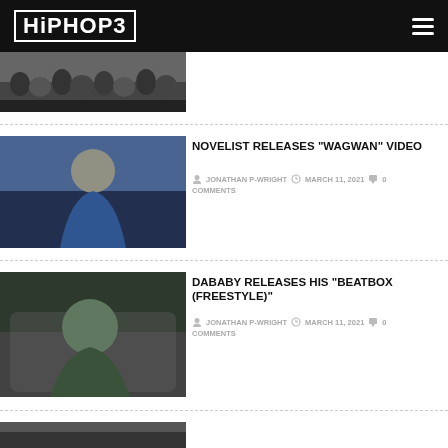HIPHOP3
[Figure (photo): Partial view of a crowd/group photo at top of page]
NOVELIST RELEASES “WAGWAN” VIDEO
JONATHAN P-WRIGHT  MARCH 11, 2021  0 COMMENTS
[Figure (photo): Photo of man in blue hoodie (Novelist)]
DABABY RELEASES HIS “BEATBOX (FREESTYLE)”
JONATHAN P-WRIGHT  MARCH 11, 2021  0 COMMENTS
[Figure (photo): Photo of DaBaby in a car wearing green beanie]
[Figure (photo): Partial bottom article thumbnail, cut off at page edge]